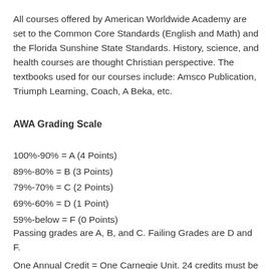All courses offered by American Worldwide Academy are set to the Common Core Standards (English and Math) and the Florida Sunshine State Standards. History, science, and health courses are thought Christian perspective. The textbooks used for our courses include: Amsco Publication, Triumph Learning, Coach, A Beka, etc.
AWA Grading Scale
100%-90% = A (4 Points)
89%-80% = B (3 Points)
79%-70% = C (2 Points)
69%-60% = D (1 Point)
59%-below = F (0 Points)
Passing grades are A, B, and C. Failing Grades are D and F.
One Annual Credit = One Carnegie Unit. 24 credits must be